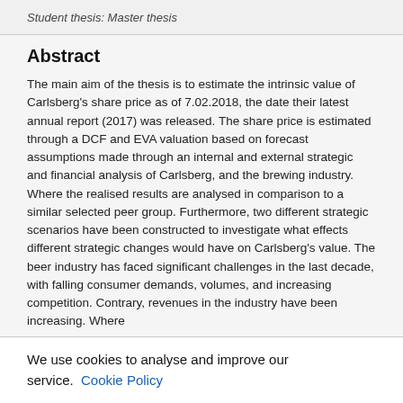Student thesis: Master thesis
Abstract
The main aim of the thesis is to estimate the intrinsic value of Carlsberg’s share price as of 7.02.2018, the date their latest annual report (2017) was released. The share price is estimated through a DCF and EVA valuation based on forecast assumptions made through an internal and external strategic and financial analysis of Carlsberg, and the brewing industry. Where the realised results are analysed in comparison to a similar selected peer group. Furthermore, two different strategic scenarios have been constructed to investigate what effects different strategic changes would have on Carlsberg’s value. The beer industry has faced significant challenges in the last decade, with falling consumer demands, volumes, and increasing competition. Contrary, revenues in the industry have been increasing. Where
We use cookies to analyse and improve our service. Cookie Policy